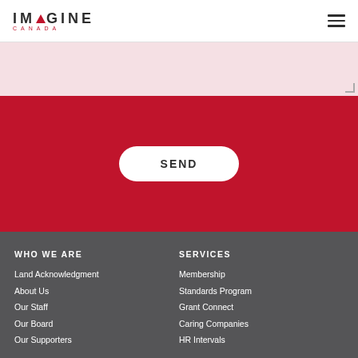IMAGINE CANADA
[Figure (screenshot): Pink/rose textarea input field with resize handle at bottom right]
[Figure (screenshot): Red background section with white pill-shaped SEND button]
WHO WE ARE
Land Acknowledgment
About Us
Our Staff
Our Board
Our Supporters
SERVICES
Membership
Standards Program
Grant Connect
Caring Companies
HR Intervals